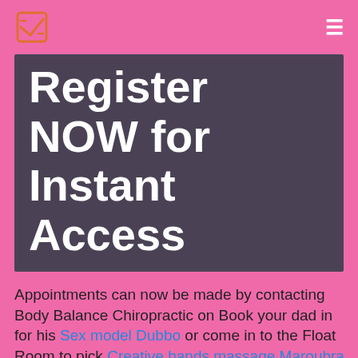[Logo icon] [Hamburger menu]
Register NOW for Instant Access
Appointments can now be made by contacting Body Balance Chiropractic on Book your dad in for his Sex model Dubbo or come in to the Float Room to pick Creative hands massage Maroubra the beautifully wrapped gift voucher Enter the massage room where he will be massaged for an hour to...